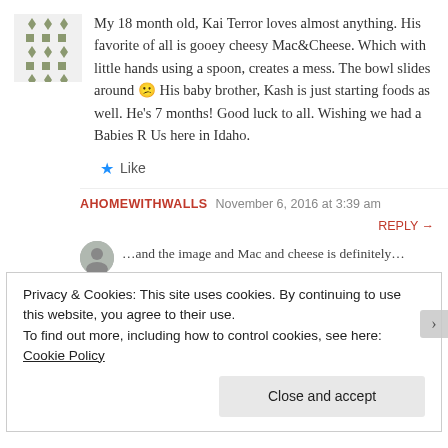My 18 month old, Kai Terror loves almost anything. His favorite of all is gooey cheesy Mac&Cheese. Which with little hands using a spoon, creates a mess. The bowl slides around 😕 His baby brother, Kash is just starting foods as well. He's 7 months! Good luck to all. Wishing we had a Babies R Us here in Idaho.
★ Like
AHOMEWITHWALLS  November 6, 2016 at 3:39 am  REPLY →
Privacy & Cookies: This site uses cookies. By continuing to use this website, you agree to their use.
To find out more, including how to control cookies, see here: Cookie Policy
Close and accept